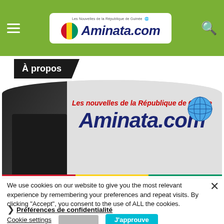Aminata.com — Les Nouvelles de la République de Guinée
À propos
[Figure (logo): Aminata.com banner logo with tagline 'Les nouvelles de la République de Guinée', large bold italic text, globe icon, Guinea flag colors bar at bottom, woman figure on left]
We use cookies on our website to give you the most relevant experience by remembering your preferences and repeat visits. By clicking "Accept", you consent to the use of ALL the cookies.
Préférences de confidentialité
Cookie settings
J'approuve